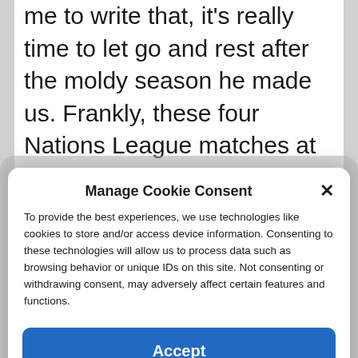me to write that, it's really time to let go and rest after the moldy season he made us. Frankly, these four Nations League matches at the end of a provocative season for everyone, it's great no matter what. In the face of not including the d'ailleurs c'est pas Byzance, hein...
Manage Cookie Consent
To provide the best experiences, we use technologies like cookies to store and/or access device information. Consenting to these technologies will allow us to process data such as browsing behavior or unique IDs on this site. Not consenting or withdrawing consent, may adversely affect certain features and functions.
Accept
Cookie Policy